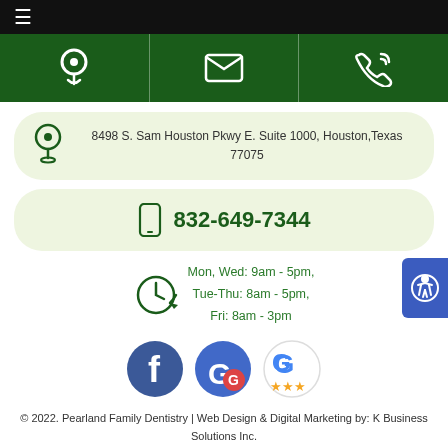≡ (hamburger menu)
[Figure (infographic): Dark green banner with three icons: map pin, envelope, phone with signal waves]
8498 S. Sam Houston Pkwy E. Suite 1000, Houston, Texas 77075
832-649-7344
Mon, Wed: 9am - 5pm, Tue-Thu: 8am - 5pm, Fri: 8am - 3pm
[Figure (illustration): Facebook icon, Google Maps icon, Google Reviews icon with stars]
© 2022. Pearland Family Dentistry | Web Design & Digital Marketing by: K Business Solutions Inc.